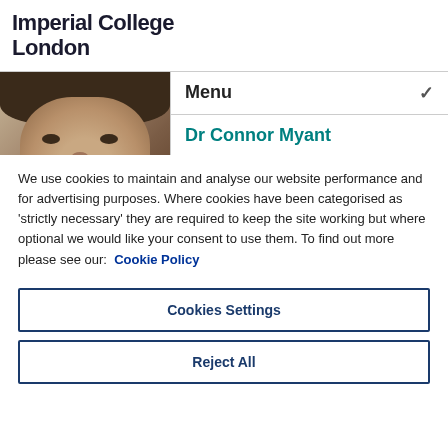Imperial College London
Menu
Dr Connor Myant
Faculty of Engineering, Dyson School of Design Engineering
[Figure (photo): Headshot photo of Dr Connor Myant against a dark background]
We use cookies to maintain and analyse our website performance and for advertising purposes. Where cookies have been categorised as 'strictly necessary' they are required to keep the site working but where optional we would like your consent to use them. To find out more please see our: Cookie Policy
Cookies Settings
Reject All